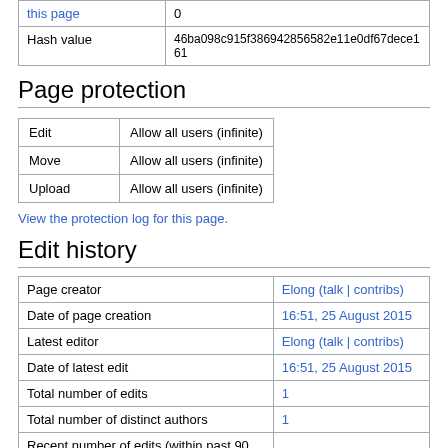| this page | 0 |
| Hash value | 46ba098c915f386942856582e11e0df67dece161 |
Page protection
| Edit | Allow all users (infinite) |
| Move | Allow all users (infinite) |
| Upload | Allow all users (infinite) |
View the protection log for this page.
Edit history
| Page creator | Elong (talk | contribs) |
| Date of page creation | 16:51, 25 August 2015 |
| Latest editor | Elong (talk | contribs) |
| Date of latest edit | 16:51, 25 August 2015 |
| Total number of edits | 1 |
| Total number of distinct authors | 1 |
| Recent number of edits (within past 90 days) | 0 |
| Recent number of distinct authors | 0 |